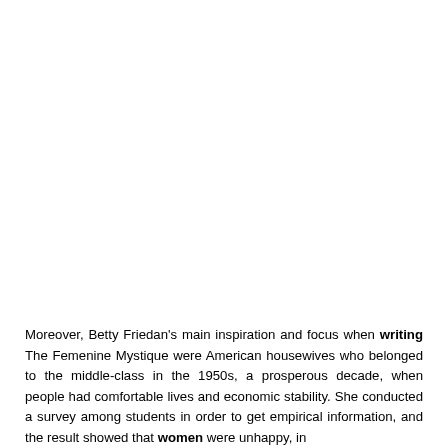Moreover, Betty Friedan's main inspiration and focus when writing The Femenine Mystique were American housewives who belonged to the middle-class in the 1950s, a prosperous decade, when people had comfortable lives and economic stability. She conducted a survey among students in order to get empirical information, and the result showed that women were unhappy, in